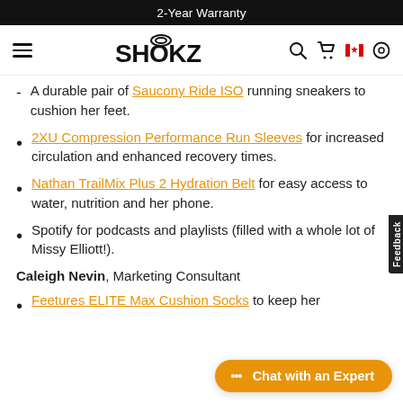2-Year Warranty
[Figure (logo): SHOKZ logo with navigation bar including hamburger menu, search, cart, Canada flag icon, and location icon]
A durable pair of Saucony Ride ISO running sneakers to cushion her feet.
2XU Compression Performance Run Sleeves for increased circulation and enhanced recovery times.
Nathan TrailMix Plus 2 Hydration Belt for easy access to water, nutrition and her phone.
Spotify for podcasts and playlists (filled with a whole lot of Missy Elliott!).
Caleigh Nevin, Marketing Consultant
Feetures ELITE Max Cushion Socks to keep her